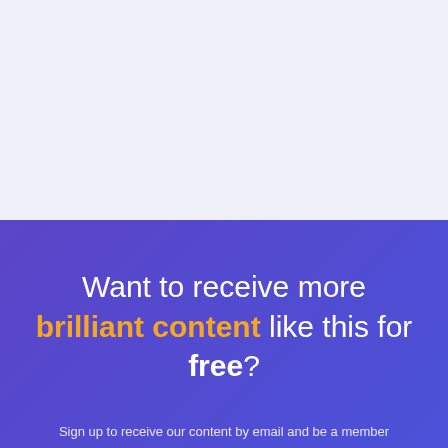[Figure (other): Light blue-gray background top half of page, empty]
Want to receive more brilliant content like this for free?
Sign up to receive our content by email and be a member